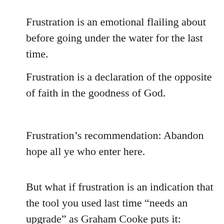Frustration is an emotional flailing about before going under the water for the last time.
Frustration is a declaration of the opposite of faith in the goodness of God.
Frustration’s recommendation: Abandon hope all ye who enter here.
But what if frustration is an indication that the tool you used last time “needs an upgrade” as Graham Cooke puts it:
“If I focus on frustration,
the core of my attention
is the opposite of who God is for me.